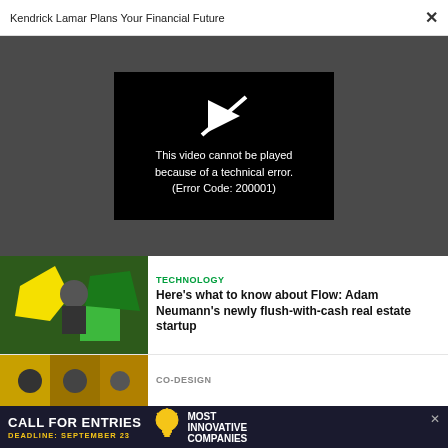Kendrick Lamar Plans Your Financial Future ×
[Figure (screenshot): Video player showing error: 'This video cannot be played because of a technical error. (Error Code: 200001)' on dark background]
This video cannot be played because of a technical error. (Error Code: 200001)
[Figure (photo): Thumbnail image with colorful abstract background and a person seated]
TECHNOLOGY
Here's what to know about Flow: Adam Neumann's newly flush-with-cash real estate startup
[Figure (photo): Thumbnail image of people]
CO-DESIGN
CALL FOR ENTRIES DEADLINE: SEPTEMBER 23 Most Innovative Companies